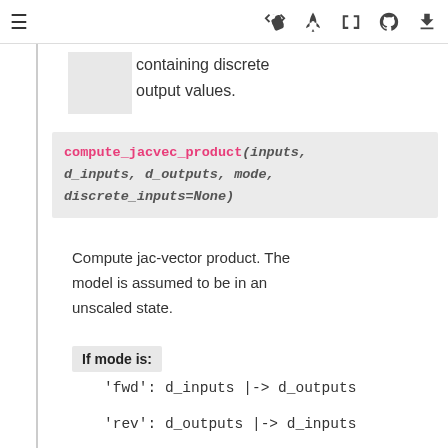≡  🚀  [ ]  ⊙  ⬇
containing discrete output values.
compute_jacvec_product(inputs, d_inputs, d_outputs, mode, discrete_inputs=None)
Compute jac-vector product. The model is assumed to be in an unscaled state.
If mode is:
'fwd': d_inputs |-> d_outputs
'rev': d_outputs |-> d_inputs
| Paramet | inputs | : Vector |
| --- | --- | --- |